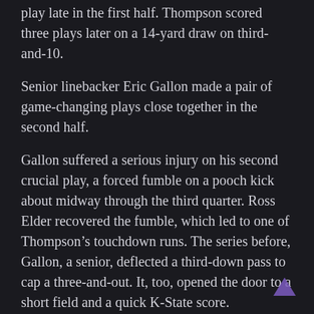play late in the first half. Thompson scored three plays later on a 14-yard draw on third-and-10.
Senior linebacker Eric Gallon made a pair of game-changing plays close together in the second half.
Gallon suffered a serious injury on his second crucial play, a forced fumble on a pooch kick about midway through the third quarter. Ross Elder recovered the fumble, which led to one of Thompson's touchdown runs. The series before, Gallon, a senior, deflected a third-down pass to cap a three-and-out. It, too, opened the door to a short field and a quick K-State score.
“Those were amazing plays. We love Eric. When he went down, we made the decision we had to go win it for him and for everything he’s worked for and everything he’s done.” Parker said. “Prayers out to